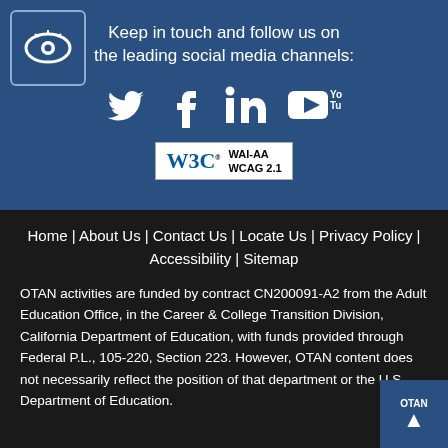[Figure (logo): OTAN logo - eye icon in blue square]
Keep in touch and follow us on the leading social media channels:
[Figure (illustration): Social media icons: Twitter bird, Facebook f, LinkedIn in, YouTube logo]
[Figure (logo): W3C WAI-AA WCAG 2.1 accessibility badge]
Home | About Us | Contact Us | Locate Us | Privacy Policy | Accessibility | Sitemap
OTAN activities are funded by contract CN200091-A2 from the Adult Education Office, in the Career & College Transition Division, California Department of Education, with funds provided through Federal P.L., 105-220, Section 223. However, OTAN content does not necessarily reflect the position of that department or the U.S. Department of Education.